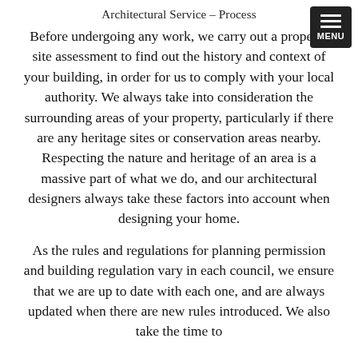Architectural Service – Process
Before undergoing any work, we carry out a property site assessment to find out the history and context of your building, in order for us to comply with your local authority. We always take into consideration the surrounding areas of your property, particularly if there are any heritage sites or conservation areas nearby. Respecting the nature and heritage of an area is a massive part of what we do, and our architectural designers always take these factors into account when designing your home.
As the rules and regulations for planning permission and building regulation vary in each council, we ensure that we are up to date with each one, and are always updated when there are new rules introduced. We also take the time to